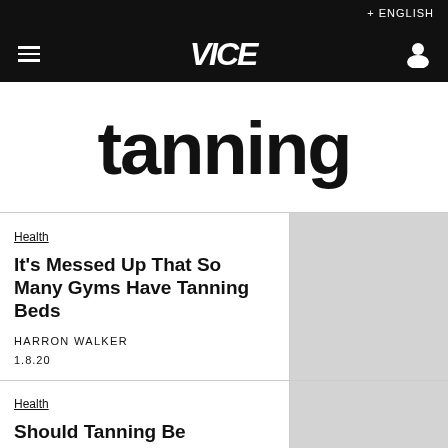+ ENGLISH
VICE
tanning
Health
It's Messed Up That So Many Gyms Have Tanning Beds
HARRON WALKER
1.8.20
Health
Should Tanning Be Considered